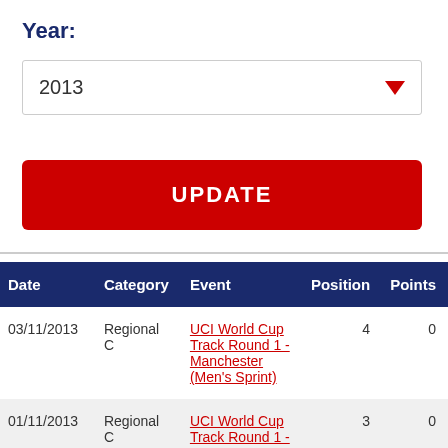Year:
2013
UPDATE
| Date | Category | Event | Position | Points |
| --- | --- | --- | --- | --- |
| 03/11/2013 | Regional C | UCI World Cup Track Round 1 - Manchester (Men's Sprint) | 4 | 0 |
| 01/11/2013 | Regional C | UCI World Cup Track Round 1 - | 3 | 0 |